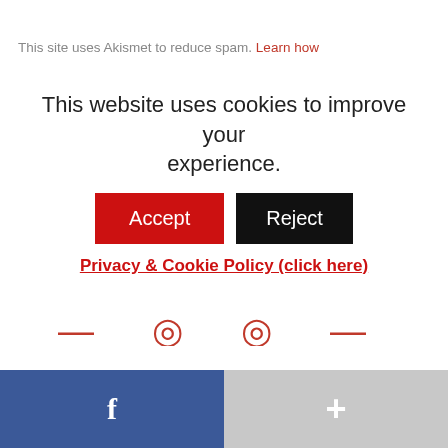This site uses Akismet to reduce spam. Learn how
This website uses cookies to improve your experience.
Accept
Reject
Privacy & Cookie Policy (click here)
Search this site!
Search this website